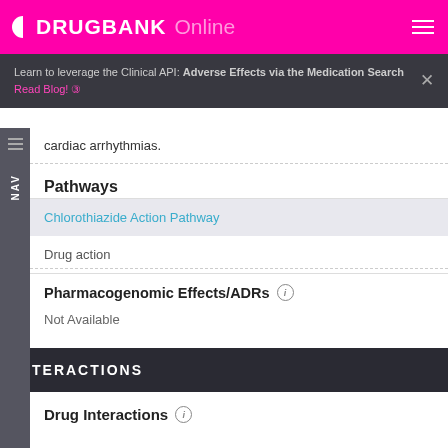DRUGBANK Online
Learn to leverage the Clinical API: Adverse Effects via the Medication Search  Read Blog!
cardiac arrhythmias.
Pathways
| Pathway | Category |
| --- | --- |
| Chlorothiazide Action Pathway | Drug action |
Pharmacogenomic Effects/ADRs
Not Available
INTERACTIONS
Drug Interactions